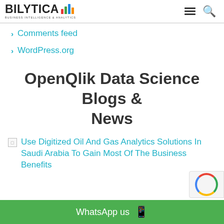BILYTICA - BUSINESS INTELLIGENCE & ANALYTICS
Comments feed
WordPress.org
OpenQlik Data Science Blogs & News
[Figure (other): Broken image placeholder followed by article link: Use Digitized Oil And Gas Analytics Solutions In Saudi Arabia To Gain Most Of The Business Benefits]